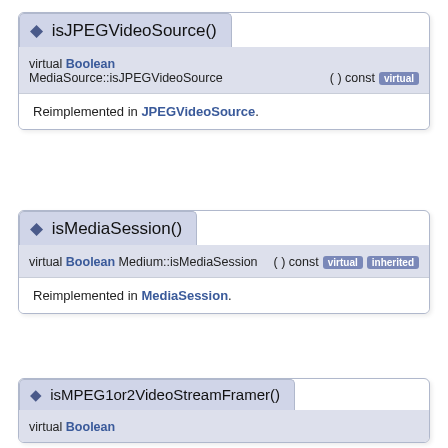◆ isJPEGVideoSource()
virtual Boolean MediaSource::isJPEGVideoSource ( ) const [virtual]
Reimplemented in JPEGVideoSource.
◆ isMediaSession()
virtual Boolean Medium::isMediaSession ( ) const [virtual][inherited]
Reimplemented in MediaSession.
◆ isMPEG1or2VideoStreamFramer()
virtual Boolean